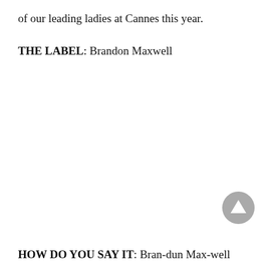of our leading ladies at Cannes this year.
THE LABEL: Brandon Maxwell
[Figure (other): Grey circular button with upward-pointing triangle arrow icon]
HOW DO YOU SAY IT: Bran-dun Max-well